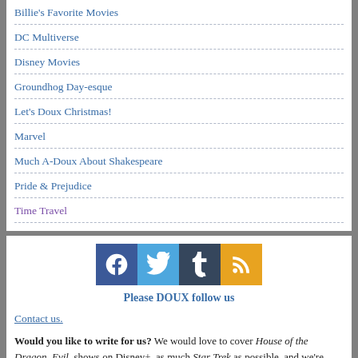Billie's Favorite Movies
DC Multiverse
Disney Movies
Groundhog Day-esque
Let's Doux Christmas!
Marvel
Much A-Doux About Shakespeare
Pride & Prejudice
Time Travel
[Figure (infographic): Social media icons: Facebook (blue), Twitter (light blue), Tumblr (dark blue/navy), RSS (orange/gold)]
Please DOUX follow us
Contact us.
Would you like to write for us? We would love to cover House of the Dragon, Evil, shows on Disney+, as much Star Trek as possible, and we're open to suggestions. Apply here!